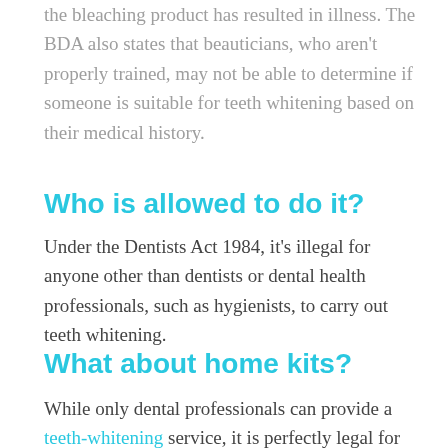the bleaching product has resulted in illness. The BDA also states that beauticians, who aren't properly trained, may not be able to determine if someone is suitable for teeth whitening based on their medical history.
Who is allowed to do it?
Under the Dentists Act 1984, it's illegal for anyone other than dentists or dental health professionals, such as hygienists, to carry out teeth whitening.
What about home kits?
While only dental professionals can provide a teeth-whitening service, it is perfectly legal for someone to treat themselves with an over-the-counter kit, provided it contains less than 0.1% hydrogen peroxide,